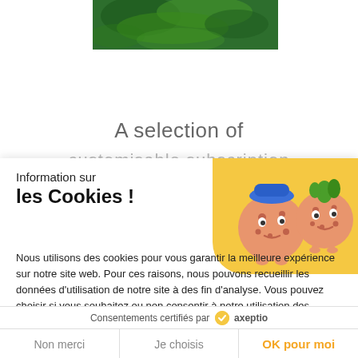[Figure (photo): Grass/lawn photo partially visible at top center of page behind cookie modal]
A selection of
customisable subscription
Information sur
les Cookies !
Nous utilisons des cookies pour vous garantir la meilleure expérience sur notre site web. Pour ces raisons, nous pouvons recueillir les données d'utilisation de notre site à des fin d'analyse. Vous pouvez choisir si vous souhaitez ou non consentir à notre utilisation des cookies via les options suivantes
[Figure (illustration): Two cartoon cookie characters with faces on yellow background]
Consentements certifiés par axeptio
Non merci
Je choisis
OK pour moi